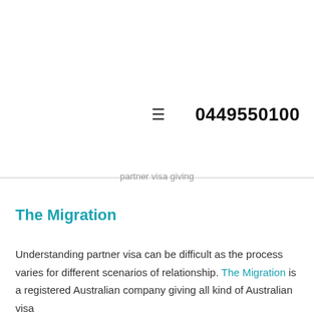0449550100
partner visa giving
The Migration
Understanding partner visa can be difficult as the process varies for different scenarios of relationship. The Migration is a registered Australian company giving all kind of Australian visa